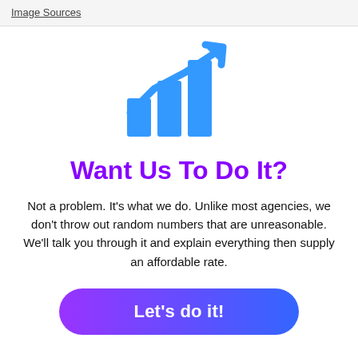Image Sources
[Figure (illustration): Blue bar chart icon with upward trending arrow, representing growth/marketing analytics]
Want Us To Do It?
Not a problem. It's what we do. Unlike most agencies, we don't throw out random numbers that are unreasonable. We'll talk you through it and explain everything then supply an affordable rate.
Let's do it!